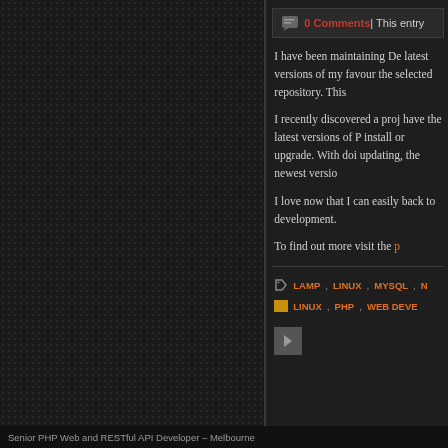0 Comments | This entry
I have been maintaining De latest versions of my favour the selected repository. This
I recently discovered a proj have the latest versions of P install or upgrade. With doi updating, the newest versio
I love now that I can easily back to development.
To find out more visit the p
LAMP, LINUX, MYSQL, N
LINUX, PHP, WEB DEVE
Senior PHP Web and RESTful API Developer – Melbourne